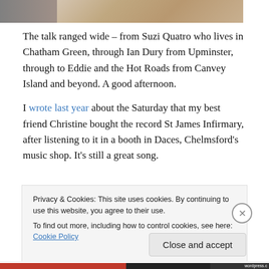[Figure (photo): Partial photo strip at the top of the page showing a cropped image with brown/tan tones]
The talk ranged wide – from Suzi Quatro who lives in Chatham Green, through Ian Dury from Upminster, through to Eddie and the Hot Roads from Canvey Island and beyond. A good afternoon.
I wrote last year about the Saturday that my best friend Christine bought the record St James Infirmary, after listening to it in a booth in Daces, Chelmsford's music shop. It's still a great song.
Privacy & Cookies: This site uses cookies. By continuing to use this website, you agree to their use.
To find out more, including how to control cookies, see here: Cookie Policy
Close and accept